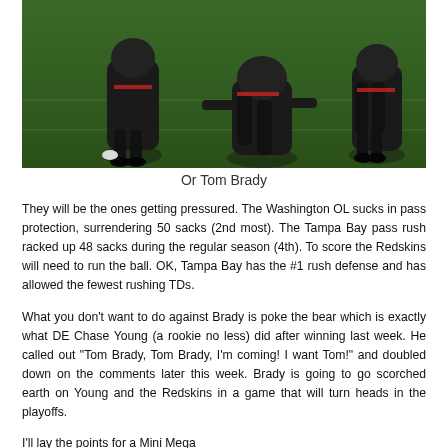[Figure (photo): Football players on field, players in dark uniforms on a green field, action shot from a game]
Or Tom Brady
They will be the ones getting pressured. The Washington OL sucks in pass protection, surrendering 50 sacks (2nd most). The Tampa Bay pass rush racked up 48 sacks during the regular season (4th). To score the Redskins will need to run the ball. OK, Tampa Bay has the #1 rush defense and has allowed the fewest rushing TDs.
What you don't want to do against Brady is poke the bear which is exactly what DE Chase Young (a rookie no less) did after winning last week. He called out "Tom Brady, Tom Brady, I'm coming! I want Tom!" and doubled down on the comments later this week. Brady is going to go scorched earth on Young and the Redskins in a game that will turn heads in the playoffs.
I'll lay the points for a Mini Mega